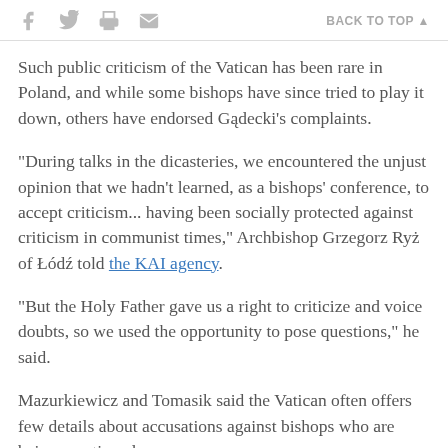Social share icons and BACK TO TOP link
Such public criticism of the Vatican has been rare in Poland, and while some bishops have since tried to play it down, others have endorsed Gądecki's complaints.
"During talks in the dicasteries, we encountered the unjust opinion that we hadn't learned, as a bishops' conference, to accept criticism... having been socially protected against criticism in communist times," Archbishop Grzegorz Ryż of Łódź told the KAI agency.
"But the Holy Father gave us a right to criticize and voice doubts, so we used the opportunity to pose questions," he said.
Mazurkiewicz and Tomasik said the Vatican often offers few details about accusations against bishops who are being sanctioned.